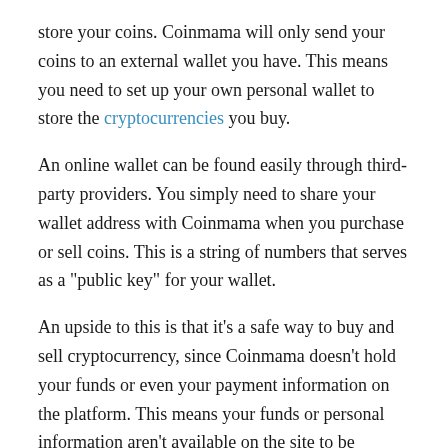store your coins. Coinmama will only send your coins to an external wallet you have. This means you need to set up your own personal wallet to store the cryptocurrencies you buy.
An online wallet can be found easily through third-party providers. You simply need to share your wallet address with Coinmama when you purchase or sell coins. This is a string of numbers that serves as a "public key" for your wallet.
An upside to this is that it's a safe way to buy and sell cryptocurrency, since Coinmama doesn't hold your funds or even your payment information on the platform. This means your funds or personal information aren't available on the site to be hacked. To avoid having your funds sent to the wrong address, be sure to enter your wallet address carefully. Coinmama can't retrieve funds if you make a mistake because transactions on blockchain are irreversible.